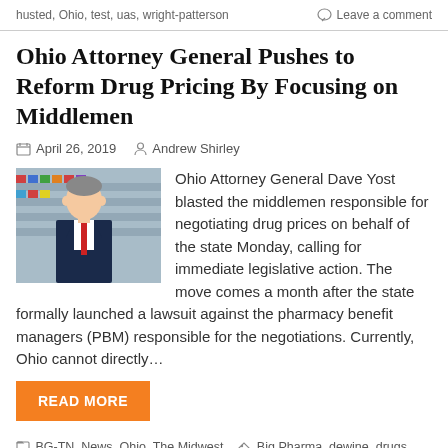husted, Ohio, test, uas, wright-patterson | Leave a comment
Ohio Attorney General Pushes to Reform Drug Pricing By Focusing on Middlemen
April 26, 2019  Andrew Shirley
[Figure (photo): Photo of a man in a suit standing in front of pharmacy shelves]
Ohio Attorney General Dave Yost blasted the middlemen responsible for negotiating drug prices on behalf of the state Monday, calling for immediate legislative action. The move comes a month after the state formally launched a lawsuit against the pharmacy benefit managers (PBM) responsible for the negotiations. Currently, Ohio cannot directly…
READ MORE
BG-TN, News, Ohio, The Midwest  Big Pharma, dewine, drugs, investigation, lawsuit, legislative action, Ohio, pbm, reform, yost
Leave a comment